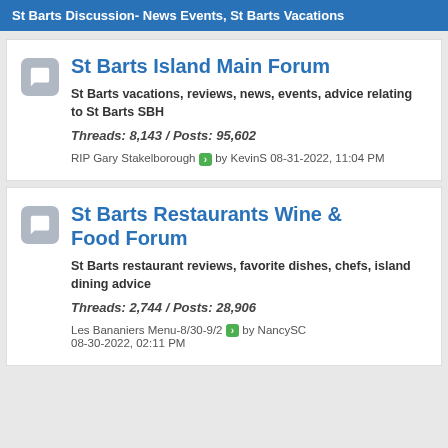St Barts Discussion- News Events, St Barts Vacations
St Barts Island Main Forum
St Barts vacations, reviews, news, events, advice relating to St Barts SBH
Threads: 8,143 / Posts: 95,602
RIP Gary Stakelborough > by KevinS 08-31-2022, 11:04 PM
St Barts Restaurants Wine & Food Forum
St Barts restaurant reviews, favorite dishes, chefs, island dining advice
Threads: 2,744 / Posts: 28,906
Les Bananiers Menu-8/30-9/2 > by NancySC 08-30-2022, 02:11 PM